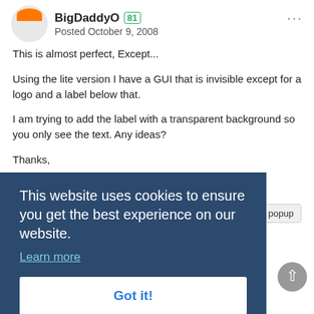BigDaddyO  81  Posted October 9, 2008
This is almost perfect, Except...
Using the lite version I have a GUI that is invisible except for a logo and a label below that.
I am trying to add the label with a transparent background so you only see the text. Any ideas?
Thanks,
[Figure (screenshot): Cookie consent overlay banner with dark blue background saying 'This website uses cookies to ensure you get the best experience on our website.' with a 'Learn more' link and a 'Got it!' button]
GUISetBkColor(0xE0FFFF, $Main_Gui)